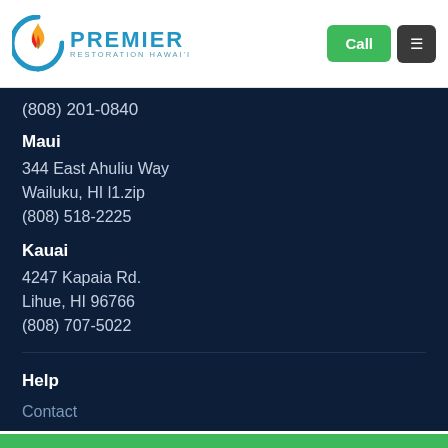[Figure (logo): Premier Restoration Hawai'i logo with flame icon in red/orange/green and blue circular arc, with blue text PREMIER and subtitle RESTORATION HAWAI'I]
(808) 201-0840
Maui
344 East Ahuliu Way
Wailuku, HI l1.zip
(808) 518-2225
Kauai
4247 Kapaia Rd.
Lihue, HI 96766
(808) 707-5022
Help
Contact